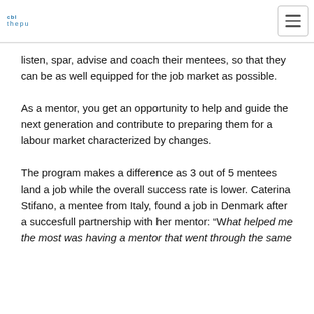cbl thepu
listen, spar, advise and coach their mentees, so that they can be as well equipped for the job market as possible.
As a mentor, you get an opportunity to help and guide the next generation and contribute to preparing them for a labour market characterized by changes.
The program makes a difference as 3 out of 5 mentees land a job while the overall success rate is lower. Caterina Stifano, a mentee from Italy, found a job in Denmark after a succesfull partnership with her mentor: “What helped me the most was having a mentor that went through the same